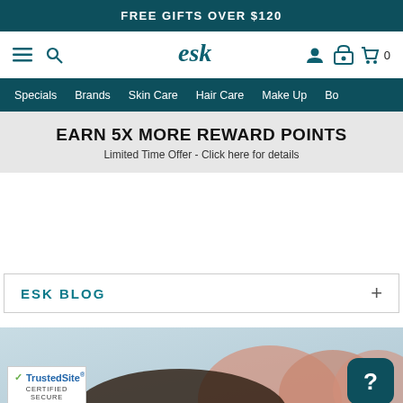FREE GIFTS OVER $120
[Figure (screenshot): Website navigation header with hamburger menu, search icon, ESK logo, user account icon, and shopping cart with 0 items]
Specials  Brands  Skin Care  Hair Care  Make Up  Bo...
EARN 5X MORE REWARD POINTS
Limited Time Offer - Click here for details
ESK BLOG
[Figure (photo): Person touching their face with both hands, applying skincare, against a light blue background]
[Figure (logo): TrustedSite Certified Secure badge with green checkmark]